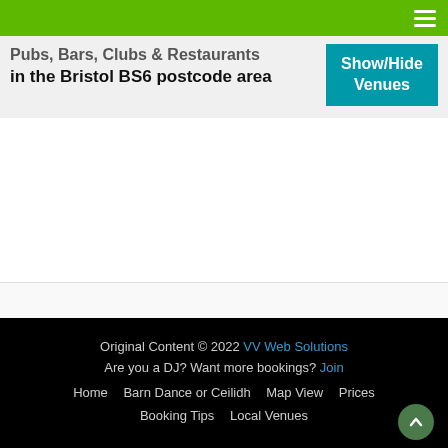Pubs, Bars, Clubs & Restaurants in the Bristol BS6 postcode area
Show/Hide Venues
Original Content © 2022 VV Web Solutions
Are you a DJ? Want more bookings? Join
Home | Barn Dance or Ceilidh | Map View | Prices | Booking Tips | Local Venues